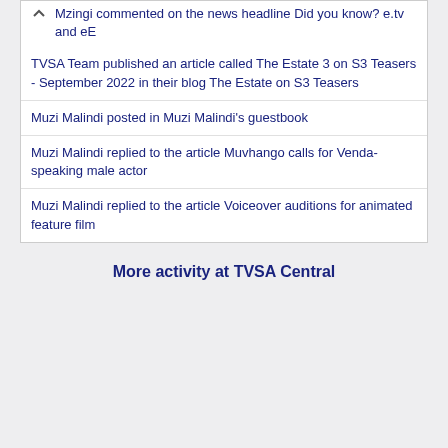Mzingi commented on the news headline Did you know? e.tv and eE
TVSA Team published an article called The Estate 3 on S3 Teasers - September 2022 in their blog The Estate on S3 Teasers
Muzi Malindi posted in Muzi Malindi's guestbook
Muzi Malindi replied to the article Muvhango calls for Venda-speaking male actor
Muzi Malindi replied to the article Voiceover auditions for animated feature film
More activity at TVSA Central